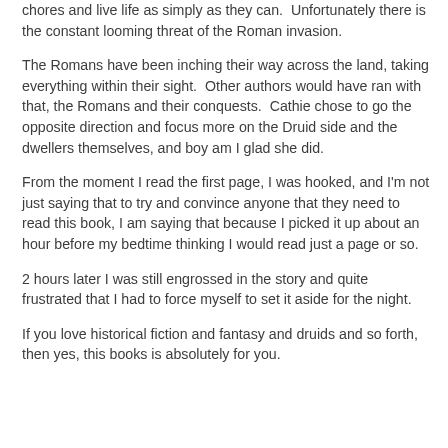chores and live life as simply as they can.  Unfortunately there is the constant looming threat of the Roman invasion.
The Romans have been inching their way across the land, taking everything within their sight.  Other authors would have ran with that, the Romans and their conquests.  Cathie chose to go the opposite direction and focus more on the Druid side and the dwellers themselves, and boy am I glad she did.
From the moment I read the first page, I was hooked, and I'm not just saying that to try and convince anyone that they need to read this book, I am saying that because I picked it up about an hour before my bedtime thinking I would read just a page or so.
2 hours later I was still engrossed in the story and quite frustrated that I had to force myself to set it aside for the night.
If you love historical fiction and fantasy and druids and so forth, then yes, this books is absolutely for you.